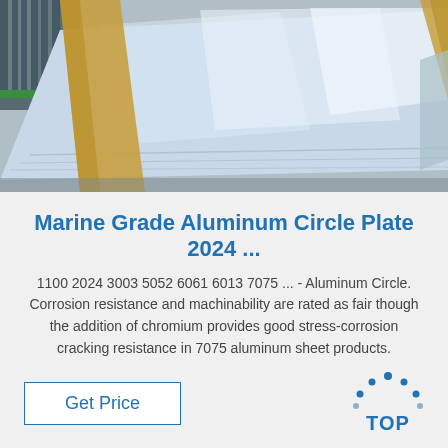[Figure (photo): Photo of aluminum sheets/plates stacked and wrapped in cardboard/paper packaging, in an industrial warehouse setting.]
Marine Grade Aluminum Circle Plate 2024 ...
1100 2024 3003 5052 6061 6013 7075 ... - Aluminum Circle. Corrosion resistance and machinability are rated as fair though the addition of chromium provides good stress-corrosion cracking resistance in 7075 aluminum sheet products.
[Figure (logo): TOP logo with blue dotted arc above the word TOP in blue.]
Get Price